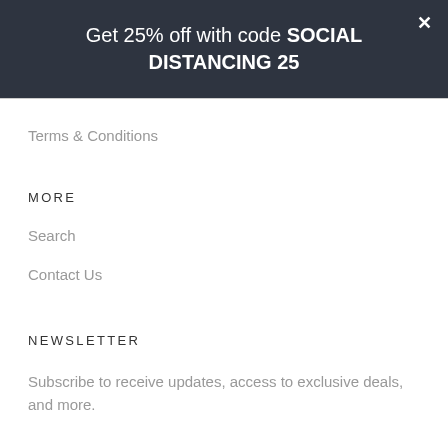Get 25% off with code SOCIAL DISTANCING 25
Terms & Conditions
MORE
Search
Contact Us
NEWSLETTER
Subscribe to receive updates, access to exclusive deals, and more.